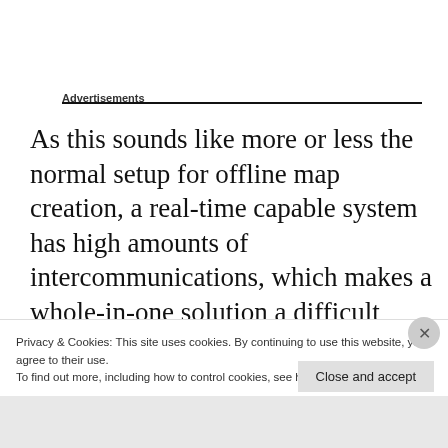Advertisements
As this sounds like more or less the normal setup for offline map creation, a real-time capable system has high amounts of intercommunications, which makes a whole-in-one solution a difficult task. The camera snaps images every defined seconds, sends them to an on-board processor for further steps. Here you have to choose: Do I calculate the global map now,
Privacy & Cookies: This site uses cookies. By continuing to use this website, you agree to their use.
To find out more, including how to control cookies, see here: Cookie Policy
Close and accept